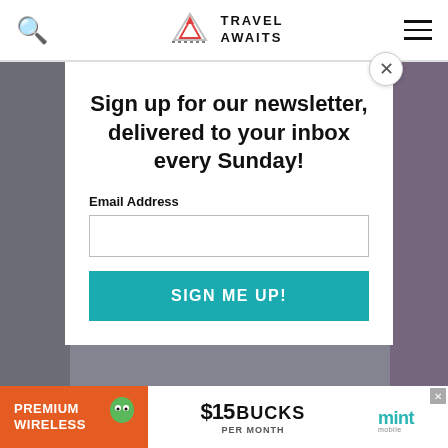Travel Awaits
Sign up for our newsletter, delivered to your inbox every Sunday!
Email Address
SIGN ME UP!
[Figure (infographic): Advertisement banner for Mint Mobile: Premium Wireless, $15 Bucks Per Month]